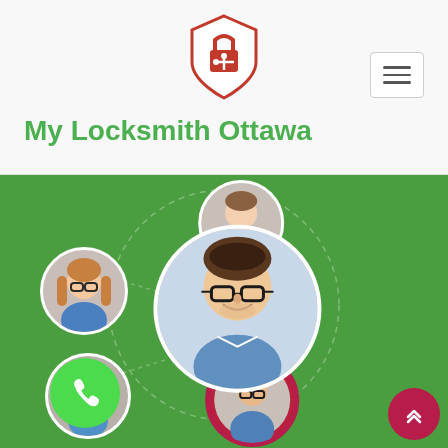[Figure (logo): Red padlock with crossed keys logo for My Locksmith Ottawa]
My Locksmith Ottawa
[Figure (illustration): Green background with circular network of profile photos of people connected by dashed lines, centered on a main person (man with glasses), with smaller circles of other people around him. Phone call button at bottom left and scroll-up button at bottom right.]